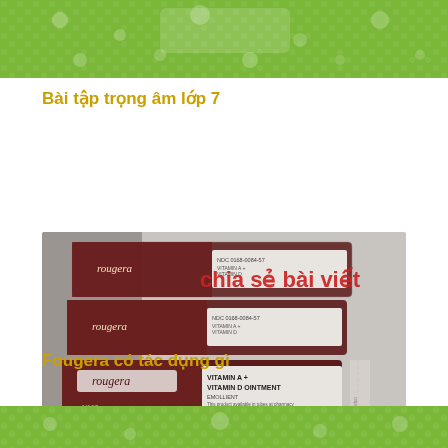[Figure (photo): Top portion of a green textured background image, partially cropped at top of page]
Bài tập trọng âm lớp 7
[Figure (photo): Photo of Fougera brand Vitamin A + Vitamin D Ointment Emollient packets/sachets with dark red/maroon packaging and white labeling. Red text overlay reads 'chia sẻ bài viết'. Brand name 'fougera' visible on packets. Product details visible including N190 2011 lot number.]
Fougera có tác dụng gì
[Figure (photo): Bottom portion of a green textured background image, partially cropped at bottom of page]